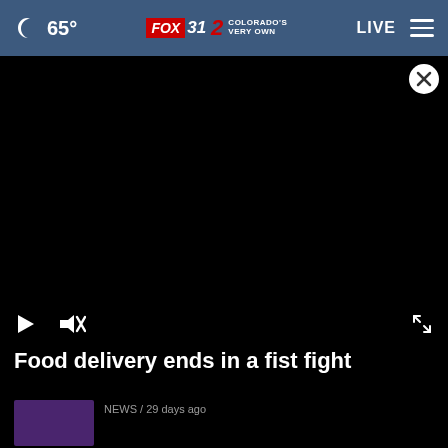65° FOX 31 2 COLORADO'S VERY OWN LIVE
[Figure (screenshot): Black video player area with close (X) button in top right corner]
[Figure (screenshot): Video player controls: play button (triangle), mute button (speaker with X), and fullscreen expand button]
Food delivery ends in a fist fight
[Figure (screenshot): Thumbnail image with purple/blue tones]
NEWS / 29 days ago